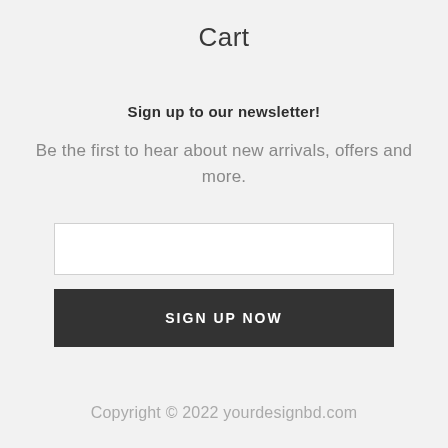Cart
Sign up to our newsletter!
Be the first to hear about new arrivals, offers and more.
[Figure (other): Email input field (empty text box)]
SIGN UP NOW
Copyright © 2022 yourdesignbd.com